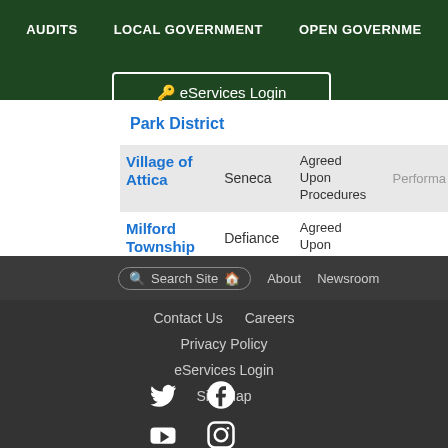AUDITS   LOCAL GOVERNMENT   OPEN GOVERNMENT
eServices Login
Park District
| Name | County | Audit Type | Performance |
| --- | --- | --- | --- |
| Village of Attica | Seneca | Agreed Upon Procedures |  |
| Milford Township | Defiance | Agreed Upon |  |
Search Site  About  Newsroom
Contact Us   Careers
Privacy Policy
eServices Login
Site Map
[Figure (other): Social media icons: Twitter, Facebook, YouTube, Instagram]